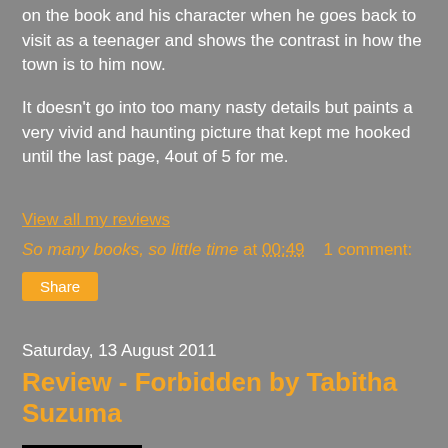on the book and his character when he goes back to visit as a teenager and shows the contrast in how the town is to him now.
It doesn't go into too many nasty details but paints a very vivid and haunting picture that kept me hooked until the last page, 4out of 5 for me.
View all my reviews
So many books, so little time at 00:49    1 comment:
Share
Saturday, 13 August 2011
Review - Forbidden by Tabitha Suzuma
[Figure (photo): Book cover image, dark background with a small illustrated figure, appearing to be a heart or floral motif in orange/yellow on black]
Forbidden by Tabitha Suzuma
Member since